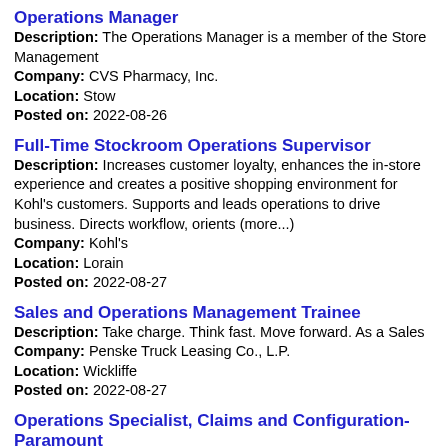Operations Manager
Description: The Operations Manager is a member of the Store Management
Company: CVS Pharmacy, Inc.
Location: Stow
Posted on: 2022-08-26
Full-Time Stockroom Operations Supervisor
Description: Increases customer loyalty, enhances the in-store experience and creates a positive shopping environment for Kohl's customers. Supports and leads operations to drive business. Directs workflow, orients (more...)
Company: Kohl's
Location: Lorain
Posted on: 2022-08-27
Sales and Operations Management Trainee
Description: Take charge. Think fast. Move forward. As a Sales
Company: Penske Truck Leasing Co., L.P.
Location: Wickliffe
Posted on: 2022-08-27
Operations Specialist, Claims and Configuration-Paramount
Description: ProMedica's health plan, Paramount Insurance, offers health insurance products across six Midwest states.